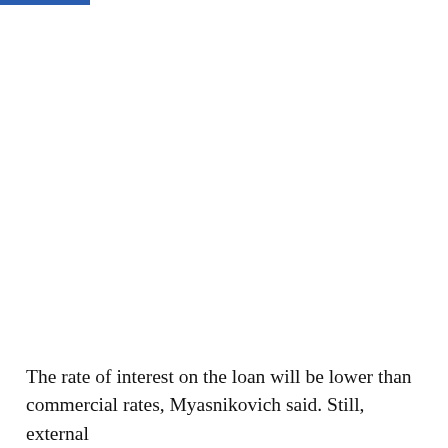The rate of interest on the loan will be lower than commercial rates, Myasnikovich said. Still, external